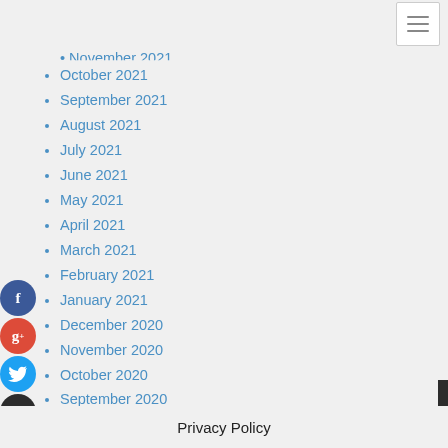[Figure (screenshot): Hamburger menu button in top right corner]
November 2021 (partially visible)
October 2021
September 2021
August 2021
July 2021
June 2021
May 2021
April 2021
March 2021
February 2021
January 2021
December 2020
November 2020
October 2020
September 2020
August 2020
July 2020
April 2018
Privacy Policy